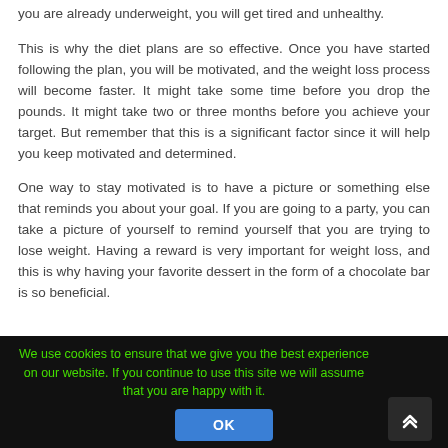you are already underweight, you will get tired and unhealthy.
This is why the diet plans are so effective. Once you have started following the plan, you will be motivated, and the weight loss process will become faster. It might take some time before you drop the pounds. It might take two or three months before you achieve your target. But remember that this is a significant factor since it will help you keep motivated and determined.
One way to stay motivated is to have a picture or something else that reminds you about your goal. If you are going to a party, you can take a picture of yourself to remind yourself that you are trying to lose weight. Having a reward is very important for weight loss, and this is why having your favorite dessert in the form of a chocolate bar is so beneficial.
We use cookies to ensure that we give you the best experience on our website. If you continue to use this site we will assume that you are happy with it. OK